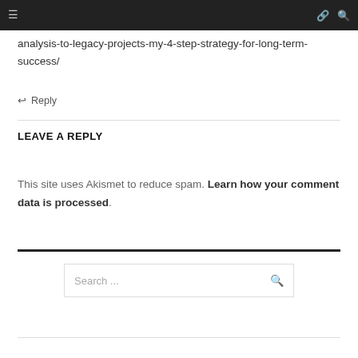Navigation bar
analysis-to-legacy-projects-my-4-step-strategy-for-long-term-success/
↩ Reply
LEAVE A REPLY
This site uses Akismet to reduce spam. Learn how your comment data is processed.
Search ...